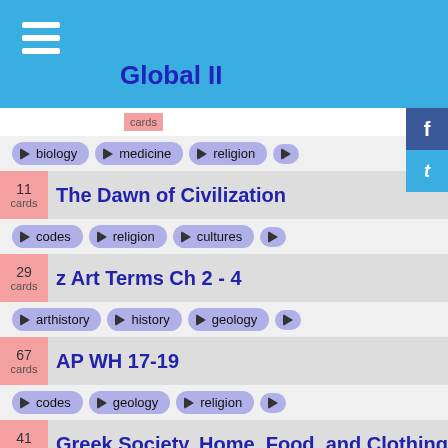Global II
cards | Global II | tags: biology, medicine, religion
11 cards | The Dawn of Civilization | tags: codes, religion, cultures
29 cards | z Art Terms Ch 2 - 4 | tags: arthistory, history, geology
67 cards | AP WH 17-19 | tags: codes, geology, religion
41 cards | Greek Society, Home, Food, and Clothing | tags: colors, arts, family, cloth
69 cards | AP WH 20-22 | tags: religion, french, spanish
209 cards | WC: Byzantines and Slavs; Islamic Civili | tags: byzantines, eastern, europe